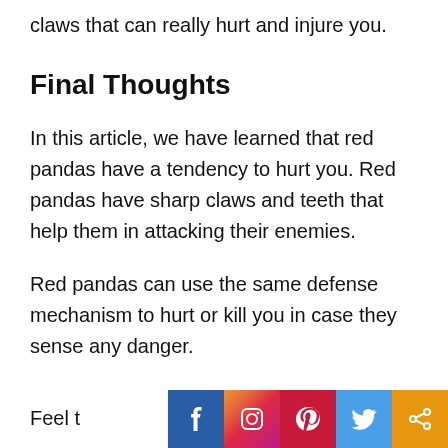claws that can really hurt and injure you.
Final Thoughts
In this article, we have learned that red pandas have a tendency to hurt you. Red pandas have sharp claws and teeth that help them in attacking their enemies.
Red pandas can use the same defense mechanism to hurt or kill you in case they sense any danger.
Feel t
[Figure (infographic): Social media sharing bar with Facebook, Instagram, Pinterest, Twitter, and share icons on colored backgrounds]